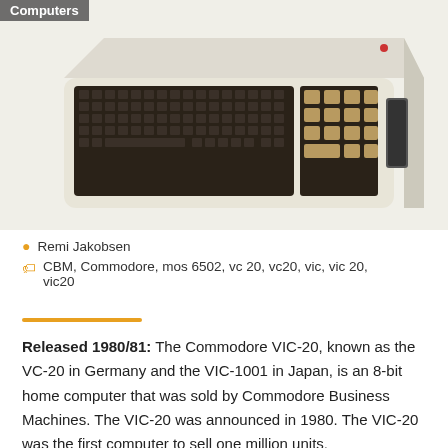Computers
[Figure (photo): Photo of a Commodore VIC-20 home computer, showing the keyboard unit in beige/cream color with dark brown keys and numeric keypad on the right, viewed from a slight angle above.]
Remi Jakobsen
CBM, Commodore, mos 6502, vc 20, vc20, vic, vic 20, vic20
Released 1980/81: The Commodore VIC-20, known as the VC-20 in Germany and the VIC-1001 in Japan, is an 8-bit home computer that was sold by Commodore Business Machines. The VIC-20 was announced in 1980. The VIC-20 was the first computer to sell one million units.